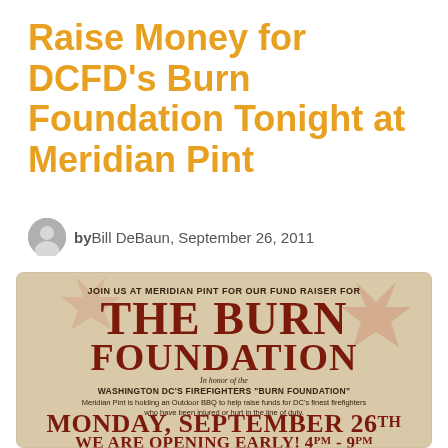Raise Money for DCFD's Burn Foundation Tonight at Meridian Pint
byBill DeBaun, September 26, 2011
[Figure (illustration): Event flyer/poster with beige/tan background and red star flag motif. Text reads: JOIN US AT MERIDIAN PINT FOR OUR FUND RAISER FOR THE BURN FOUNDATION. In honor of the WASHINGTON DC'S FIREFIGHTERS "BURN FOUNDATION" Meridian Pint is holding an Outdoor BBQ to help raise funds for DC's finest firefighters who have been injured or hurt in the line of duty. MONDAY, SEPTEMBER 26TH WE ARE OPENING EARLY! 4pm - 9pm]